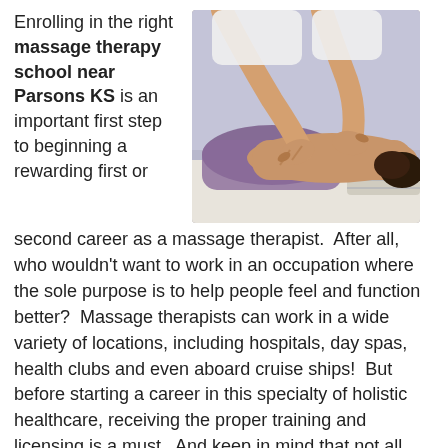Enrolling in the right massage therapy school near Parsons KS is an important first step to beginning a rewarding first or second career as a massage therapist.  After all, who wouldn't want to work in an occupation where the sole purpose is to help people feel and function better?  Massage therapists can work in a wide variety of locations, including hospitals, day spas, health clubs and even aboard cruise ships!  But before starting a career in this specialty of holistic healthcare, receiving the proper training and licensing is a must.  And keep in mind that not all massage therapy programs are alike.  When making your evaluations, it's important that you look at all aspects of the schools you are considering and not just the cost or convenience of the
[Figure (photo): A massage therapist performing a back massage on a person lying face down on a massage table with purple towels.]